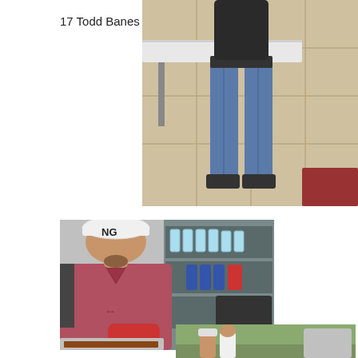17 Todd Banes
[Figure (photo): Person standing in a restaurant or kitchen area, wearing blue jeans, partial view from waist down, tiled floor visible]
[Figure (photo): Man wearing a white hard hat and red/maroon polo shirt with Under Armour logo, wearing red oven mitt, handling a food pan in a kitchen/serving area]
[Figure (photo): Partial view of a photo at the bottom of the page, appears to show people outdoors]